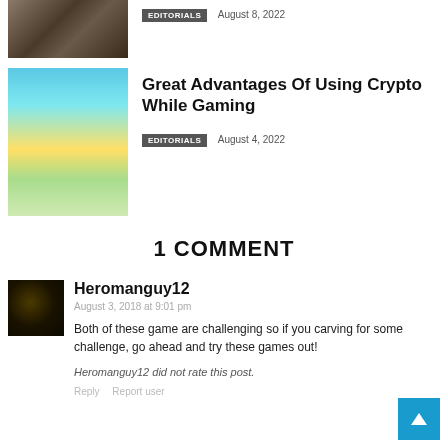[Figure (photo): Partial thumbnail of a board game on a table, clipped at top]
EDITORIALS   August 8, 2022
[Figure (screenshot): Screenshot of a colorful mobile game with cartoon animal characters on a beach]
Great Advantages Of Using Crypto While Gaming
EDITORIALS   August 4, 2022
1 COMMENT
[Figure (photo): Dark avatar image of user Heromanguy12 with yellow/gold design]
Heromanguy12
August 3, 2018 at 9:01 pm
Both of these game are challenging so if you carving for some challenge, go ahead and try these games out!
Heromanguy12 did not rate this post.
Reply   Report user